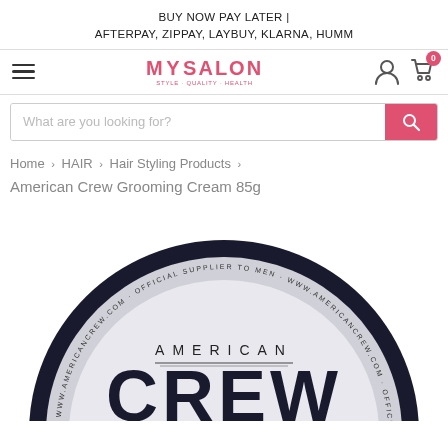BUY NOW PAY LATER | AFTERPAY, ZIPPAY, LAYBUY, KLARNA, HUMM
[Figure (screenshot): MySalon website navigation bar with hamburger menu, MySalon logo in pink/red, user account icon, and shopping cart icon with badge showing 0]
[Figure (screenshot): Search bar with placeholder text 'What are you looking for?' and a pink/red search button with magnifier icon]
Home > HAIR > Hair Styling Products >
American Crew Grooming Cream 85g
[Figure (photo): American Crew product tin lid from above, showing circular dark navy/black rimmed container with grey label reading 'AMERICAN CREW' around the edge with text 'WWW.AMERICANCREW.COM · OFFICIAL SUPPLIER TO MEN', and large bold text 'CREW' in the center]